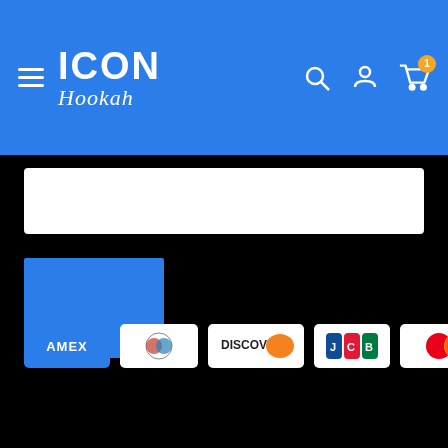[Figure (screenshot): Icon Hookah website navigation bar with blue background, hamburger menu, logo, search, account, and cart icons]
[Figure (screenshot): White search input box on dark background]
[Figure (screenshot): Blue rectangular button/element]
[Figure (screenshot): Payment method icons: Amex, Diners Club, Discover, JCB, Mastercard, Visa]